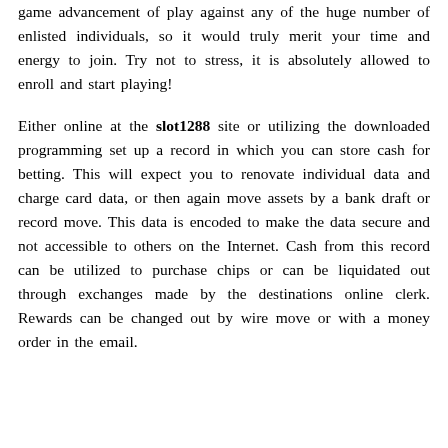game advancement of play against any of the huge number of enlisted individuals, so it would truly merit your time and energy to join. Try not to stress, it is absolutely allowed to enroll and start playing!
Either online at the slot1288 site or utilizing the downloaded programming set up a record in which you can store cash for betting. This will expect you to renovate individual data and charge card data, or then again move assets by a bank draft or record move. This data is encoded to make the data secure and not accessible to others on the Internet. Cash from this record can be utilized to purchase chips or can be liquidated out through exchanges made by the destinations online clerk. Rewards can be changed out by wire move or with a money order in the email.